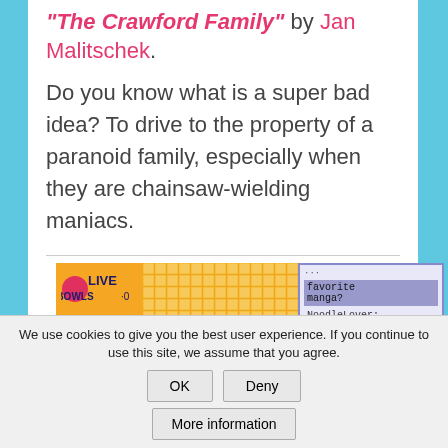"The Crawford Family" by Jan Malitschek.
Do you know what is a super bad idea? To drive to the property of a paranoid family, especially when they are chainsaw-wielding maniacs.
The Noodle jam
[Figure (screenshot): Screenshot of a webpage showing Olive Bowls logo on orange/yellow grid background on the left, and a purple-bordered chat or Q&A box on the right asking 'favorite manga?' with answer 'NoodleLover:']
We use cookies to give you the best user experience. If you continue to use this site, we assume that you agree.
OK  Deny  More information